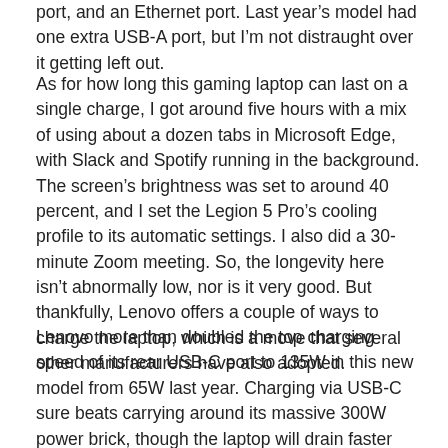port, and an Ethernet port. Last year’s model had one extra USB-A port, but I’m not distraught over it getting left out.
As for how long this gaming laptop can last on a single charge, I got around five hours with a mix of using about a dozen tabs in Microsoft Edge, with Slack and Spotify running in the background. The screen’s brightness was set to around 40 percent, and I set the Legion 5 Pro’s cooling profile to its automatic settings. I also did a 30-minute Zoom meeting. So, the longevity here isn’t abnormally low, nor is it very good. But thankfully, Lenovo offers a couple of ways to charge the laptop, which is a move that several other manufacturers have also adopted.
Lenovo more than doubled the top charging speed of its rear USB-C port to 135W in this new model from 65W last year. Charging via USB-C sure beats carrying around its massive 300W power brick, though the laptop will drain faster than it can charge if you plan on doing some gaming while charging via USB-C, so come prepared.